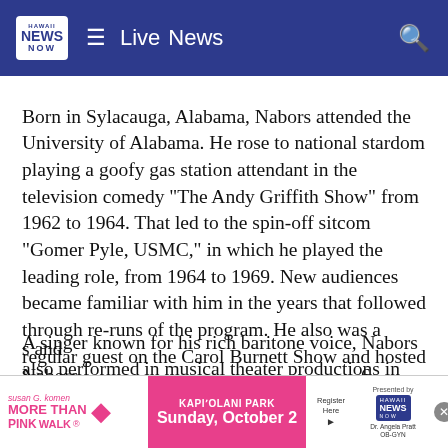Hawaii News Now — Live  News
Born in Sylacauga, Alabama, Nabors attended the University of Alabama. He rose to national stardom playing a goofy gas station attendant in the television comedy "The Andy Griffith Show" from 1962 to 1964.  That led to the spin-off sitcom "Gomer Pyle, USMC," in which he played the leading role, from 1964 to 1969. New audiences became familiar with him in the years that followed through re-runs of the program.  He also was a regular guest on the Carol Burnett Show and hosted his own variety and talk shows in the 1970s.
A singer known for his rich baritone voice, Nabors also performed in musical theater productions in Florida, Nevada and Hawaii.  For ten years, he starred in the annual ... s and Nabors ... 6.
[Figure (other): Advertisement banner: Susan G. Komen More Than Pink Walk, Kapi'olani Park Sunday October 2, Register Here, Hawaii News Now, Dr. Angela Pratt OB-GYN]